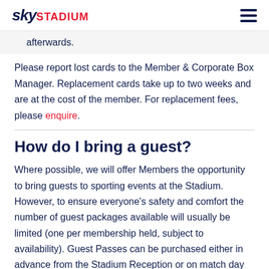sky STADIUM
afterwards.
Please report lost cards to the Member & Corporate Box Manager. Replacement cards take up to two weeks and are at the cost of the member. For replacement fees, please enquire.
How do I bring a guest?
Where possible, we will offer Members the opportunity to bring guests to sporting events at the Stadium. However, to ensure everyone's safety and comfort the number of guest packages available will usually be limited (one per membership held, subject to availability). Guest Passes can be purchased either in advance from the Stadium Reception or on match day from gates opening until